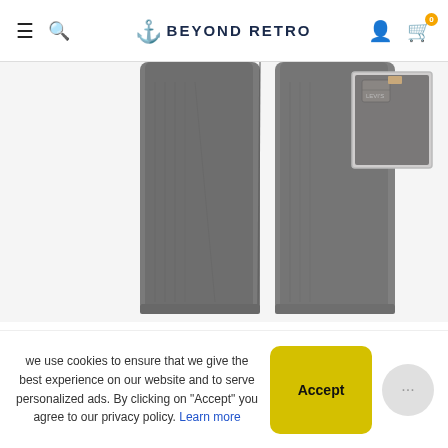BEYOND RETRO
[Figure (photo): Gray/dark wash Levi's 501 jeans shown from the legs down against a white background, with a thumbnail on the right showing the back pocket detail]
501'S FIT LEVI'S JEANS
Size: L
Inseam: 36 in.
we use cookies to ensure that we give the best experience on our website and to serve personalized ads. By clicking on "Accept" you agree to our privacy policy. Learn more